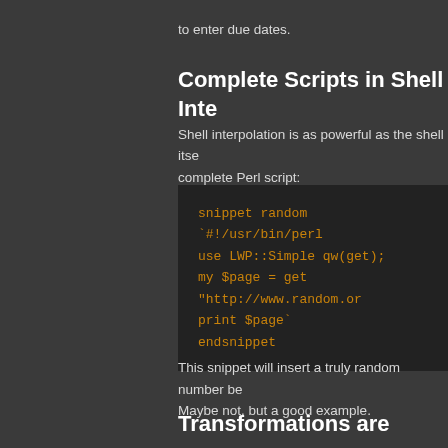to enter due dates.
Complete Scripts in Shell Inte
Shell interpolation is as powerful as the shell itse complete Perl script:
[Figure (screenshot): Code block showing a shell snippet in dark background with orange monospace text. Content: snippet random
`#!/usr/bin/perl
use LWP::Simple qw(get);
my $page = get "http://www.random.or
print $page`
endsnippet]
This snippet will insert a truly random number be Maybe not, but a good example.
Transformations are more po
This transformation shows the transformation op every word in the first tabstop while mirroring its